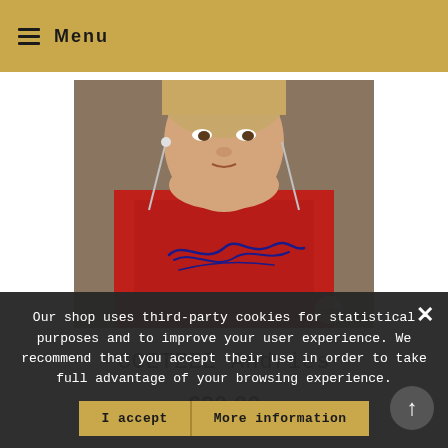Menu
[Figure (photo): Young male rugby player wearing red jersey with earphones and an autograph signature on the shirt]
COETZEE Andries
€20.00
Our shop uses third-party cookies for statistical purposes and to improve your user experience. We recommend that you accept their use in order to take full advantage of your browsing experience.
I accept   More information